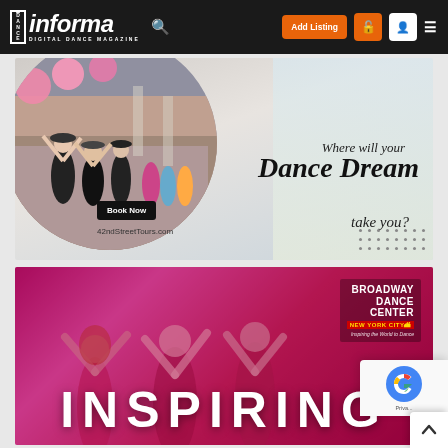Dance Informa - Digital Dance Magazine navigation bar with Add Listing button
[Figure (photo): 42nd Street Tours advertisement banner showing dancers in a circular photo collage with text 'Where will your Dance Dream take you?' and a Book Now button linking to 42ndStreetTours.com]
[Figure (photo): Broadway Dance Center advertisement banner with pink/magenta background showing dancers and the word INSPIRING in large white letters. Broadway Dance Center New York City logo in top right corner.]